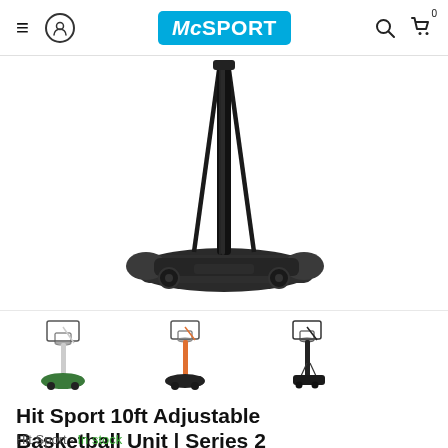McSPORT
[Figure (photo): Main product image: basketball hoop pole and weighted base (black), showing just the pole and base without the backboard, viewed from the side]
[Figure (photo): Thumbnail 1: full basketball hoop unit with backboard, white pole and green base]
[Figure (photo): Thumbnail 2: full basketball hoop unit with backboard, orange/pink pole and black base]
[Figure (photo): Thumbnail 3: full basketball hoop unit with backboard, black pole and black base (current selection)]
Hit Sport 10ft Adjustable Basketball Unit | Series 2
Hit Sport · In stock